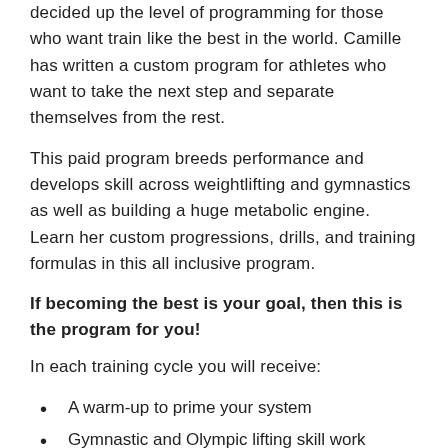decided up the level of programming for those who want train like the best in the world. Camille has written a custom program for athletes who want to take the next step and separate themselves from the rest.
This paid program breeds performance and develops skill across weightlifting and gymnastics as well as building a huge metabolic engine. Learn her custom progressions, drills, and training formulas in this all inclusive program.
If becoming the best is your goal, then this is the program for you!
In each training cycle you will receive:
A warm-up to prime your system
Gymnastic and Olympic lifting skill work
A structured strength development progression
Benchmarks for assessing and tracking capacity
High intensity workouts that maximize power and training volume
Accessory core work and drills